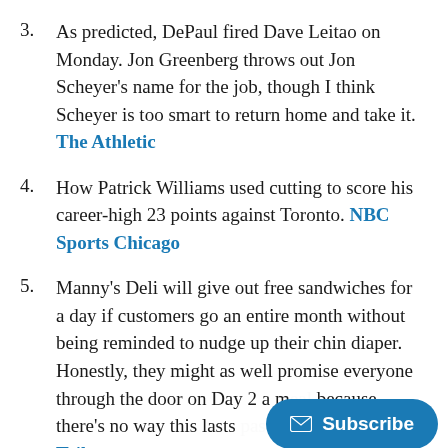3. As predicted, DePaul fired Dave Leitao on Monday. Jon Greenberg throws out Jon Scheyer's name for the job, though I think Scheyer is too smart to return home and take it. The Athletic
4. How Patrick Williams used cutting to score his career-high 23 points against Toronto. NBC Sports Chicago
5. Manny's Deli will give out free sandwiches for a day if customers go an entire month without being reminded to nudge up their chin diaper. Honestly, they might as well promise everyone through the door on Day 2 a m... because there's no way this lasts... lunch shift. Tribune